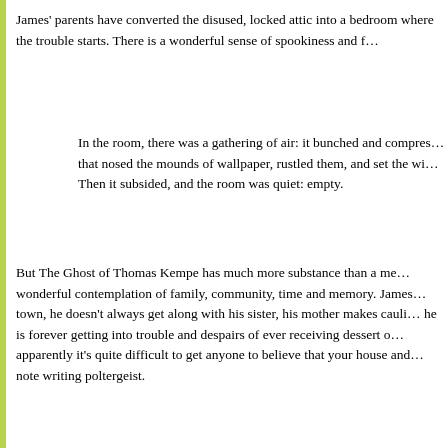James' parents have converted the disused, locked attic into a bedroom where the trouble starts. There is a wonderful sense of spookiness and f…
In the room, there was a gathering of air: it bunched and compres… that nosed the mounds of wallpaper, rustled them, and set the wi… Then it subsided, and the room was quiet: empty.
But The Ghost of Thomas Kempe has much more substance than a me… wonderful contemplation of family, community, time and memory. James… town, he doesn't always get along with his sister, his mother makes cauli… he is forever getting into trouble and despairs of ever receiving dessert o… apparently it's quite difficult to get anyone to believe that your house and… note writing poltergeist.
'If you think I've made it all up,' said James icily, 'you've got anothe… wants all their pocket money stopped and no pudding and everyb… temper with you?'
Penelope Lively is a wonderful writer. While on the face of it she seems a… was born in Egypt to English expat parents and did not attend any sort o… Ghost of Thomas Kempe was her first big success. It won the Carnegie…